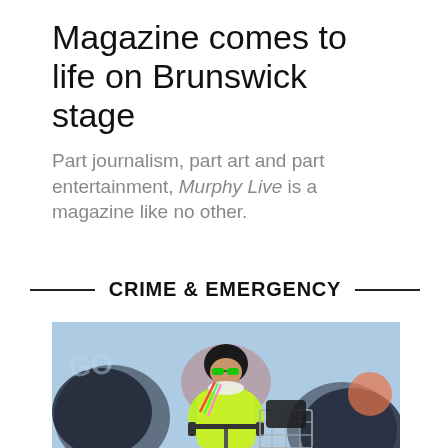Magazine comes to life on Brunswick stage
Part journalism, part art and part entertainment, Murphy Live is a magazine like no other.
CRIME & EMERGENCY
[Figure (photo): A person wearing a neon yellow/green jacket, black helmet, green sunglasses, and a patterned scarf, posing with a bicycle that has a wire basket carrier attached, in front of a graffiti-covered wall with blue, dark grey, and orange colors.]